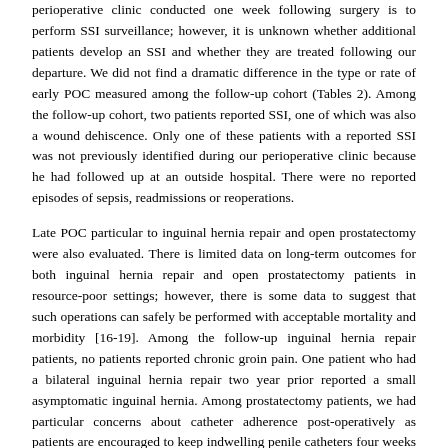perioperative clinic conducted one week following surgery is to perform SSI surveillance; however, it is unknown whether additional patients develop an SSI and whether they are treated following our departure. We did not find a dramatic difference in the type or rate of early POC measured among the follow-up cohort (Tables 2). Among the follow-up cohort, two patients reported SSI, one of which was also a wound dehiscence. Only one of these patients with a reported SSI was not previously identified during our perioperative clinic because he had followed up at an outside hospital. There were no reported episodes of sepsis, readmissions or reoperations.
Late POC particular to inguinal hernia repair and open prostatectomy were also evaluated. There is limited data on long-term outcomes for both inguinal hernia repair and open prostatectomy patients in resource-poor settings; however, there is some data to suggest that such operations can safely be performed with acceptable mortality and morbidity [16-19]. Among the follow-up inguinal hernia repair patients, no patients reported chronic groin pain. One patient who had a bilateral inguinal hernia repair two year prior reported a small asymptomatic inguinal hernia. Among prostatectomy patients, we had particular concerns about catheter adherence post-operatively as patients are encouraged to keep indwelling penile catheters four weeks postoperatively and premature removal could result in urethral stricture;